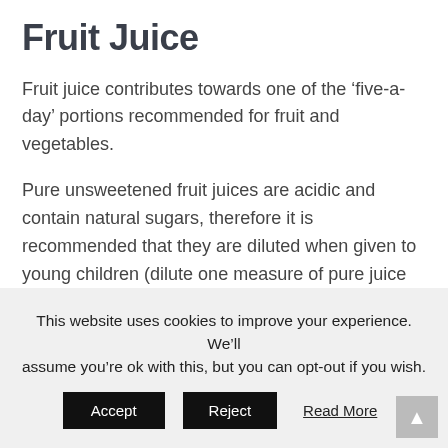Fruit Juice
Fruit juice contributes towards one of the ‘five-a-day’ portions recommended for fruit and vegetables.
Pure unsweetened fruit juices are acidic and contain natural sugars, therefore it is recommended that they are diluted when given to young children (dilute one measure of pure juice to ten measures of water). Unsweetened juices are not suitable for babies should only be given from a cup, at mealtimes, or with a meal from six months onwards.
This website uses cookies to improve your experience. We’ll assume you’re ok with this, but you can opt-out if you wish.